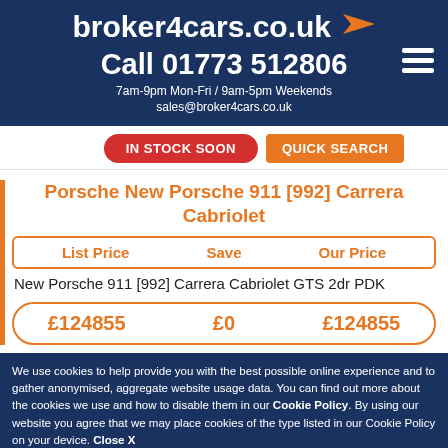broker4cars.co.uk — Call 01773 512806 — 7am-9pm Mon-Fri / 9am-5pm Weekends — sales@broker4cars.co.uk
IN STOCK SOON   QUICK SEARCH
Porsche New Porsche 911 [992] Carrera Cabriolet
| List Price | Save | Our Price |
| --- | --- | --- |
| New Porsche 911 [992] Carrera Cabriolet GTS 2dr PDK |  |  |
| £124855 | £0 | £124855 |
We use cookies to help provide you with the best possible online experience and to gather anonymised, aggregate website usage data. You can find out more about the cookies we use and how to disable them in our Cookie Policy. By using our website you agree that we may place cookies of the type listed in our Cookie Policy on your device. Close X